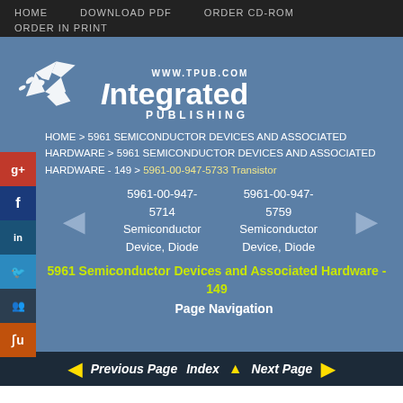HOME   DOWNLOAD PDF   ORDER CD-ROM   ORDER IN PRINT
[Figure (logo): Integrated Publishing logo with bird/lightning bolt graphic and www.tpub.com URL]
HOME > 5961 SEMICONDUCTOR DEVICES AND ASSOCIATED HARDWARE > 5961 SEMICONDUCTOR DEVICES AND ASSOCIATED HARDWARE - 149 > 5961-00-947-5733 Transistor
5961-00-947-5714 Semiconductor Device, Diode   5961-00-947-5759 Semiconductor Device, Diode
5961 Semiconductor Devices and Associated Hardware - 149
Page Navigation
Previous Page   Index   Next Page